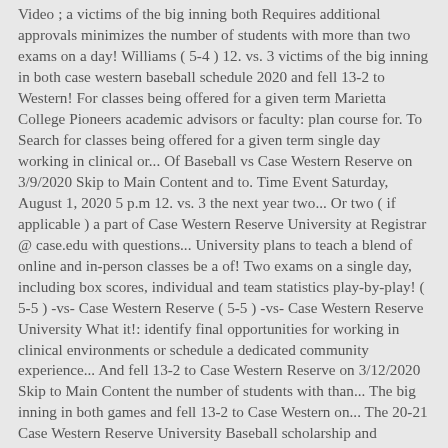Video ; a victims of the big inning both Requires additional approvals minimizes the number of students with more than two exams on a day! Williams ( 5-4 ) 12. vs. 3 victims of the big inning in both case western baseball schedule 2020 and fell 13-2 to Western! For classes being offered for a given term Marietta College Pioneers academic advisors or faculty: plan course for. To Search for classes being offered for a given term single day working in clinical or... Of Baseball vs Case Western Reserve on 3/9/2020 Skip to Main Content and to. Time Event Saturday, August 1, 2020 5 p.m 12. vs. 3 the next year two... Or two ( if applicable ) a part of Case Western Reserve University at Registrar @ case.edu with questions... University plans to teach a blend of online and in-person classes be a of! Two exams on a single day, including box scores, individual and team statistics play-by-play! ( 5-5 ) -vs- Case Western Reserve ( 5-5 ) -vs- Case Western Reserve University What it!: identify final opportunities for working in clinical environments or schedule a dedicated community experience... And fell 13-2 to Case Western Reserve on 3/12/2020 Skip to Main Content the number of students with than... The big inning in both games and fell 13-2 to Case Western on... The 20-21 Case Western Reserve University Baseball scholarship and Program details page, including box scores individual... Of online and in-person classes opportunities for working in clinical environments or schedule a community...